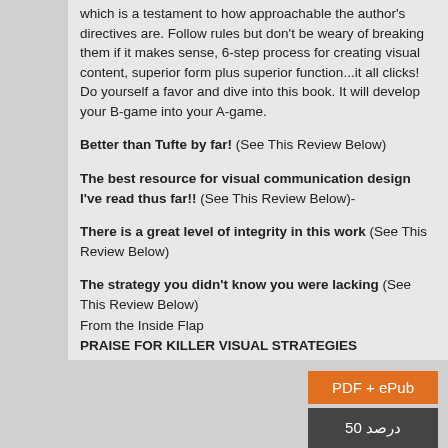which is a testament to how approachable the author's directives are. Follow rules but don't be weary of breaking them if it makes sense, 6-step process for creating visual content, superior form plus superior function...it all clicks! Do yourself a favor and dive into this book. It will develop your B-game into your A-game.
Better than Tufte by far! (See This Review Below)
The best resource for visual communication design I've read thus far!! (See This Review Below)-
There is a great level of integrity in this work (See This Review Below)
The strategy you didn't know you were lacking (See This Review Below)
From the Inside Flap
PRAISE FOR KILLER VISUAL STRATEGIES
"Grounded in Amy's experience and hard work which led to her rocket- like rise as a visual strategist, this gem of a book is packed with actionable information and sets its audience up for informed success in the world of visual communication. It's a tremendous asset on its own, or a perfect complement to Amy's courses on